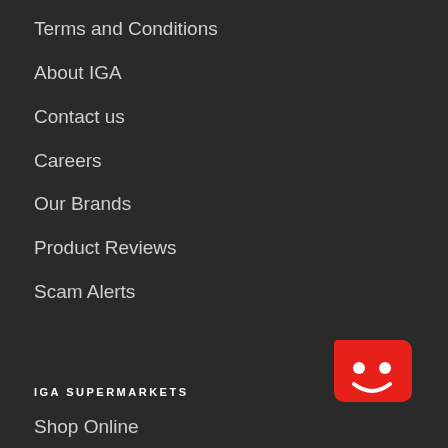Terms and Conditions
About IGA
Contact us
Careers
Our Brands
Product Reviews
Scam Alerts
IGA SUPERMARKETS
Shop Online
[Figure (logo): IGA red square mascot logo with smiley face]